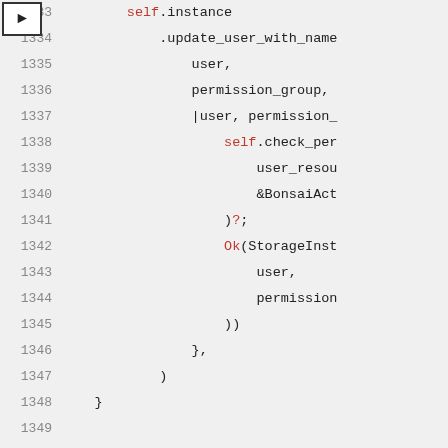[Figure (screenshot): Source code editor screenshot showing lines 1333-1352 of Rust code. Line numbers in gray on left, arrow marker on line 1334. Code contains self.instance, .update_user_with_name, user, permission_group, self.check_per, user_resou, &BonsaiAct, )?, Ok(StorageInst, user, permission, )), }, ), }, blank line, #[cfg_attr(feature = "tracing", fn add_role_to_user<, 'user, with syntax highlighting in red, green, and dark colors.]